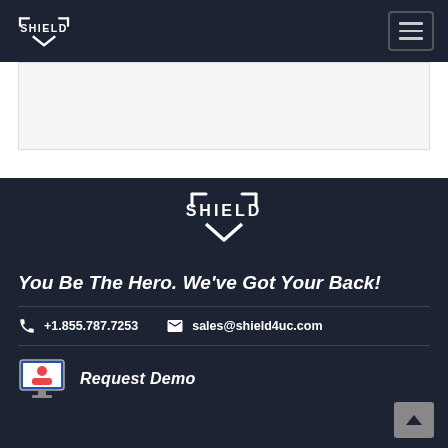SHIELD
[Figure (screenshot): Light gray content area placeholder]
[Figure (logo): Shield logo centered in footer dark area]
You Be The Hero. We've Got Your Back!
+1.855.787.7253   sales@shield4uc.com
Request Demo